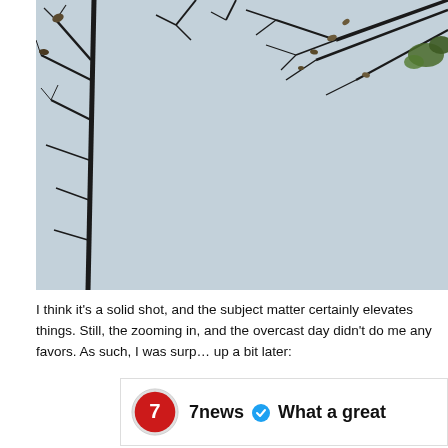[Figure (photo): Photo of tree branches with sparse leaves against an overcast light blue-grey sky, branches extending from left side and top right corners.]
I think it's a solid shot, and the subject matter certainly elevates things. Still, the zooming in, and the overcast day didn't do me any favors. As such, I was surp... up a bit later:
[Figure (screenshot): Social media post preview showing 7news logo (red circle with white 7) and text '7news' with blue verification checkmark followed by 'What a great']